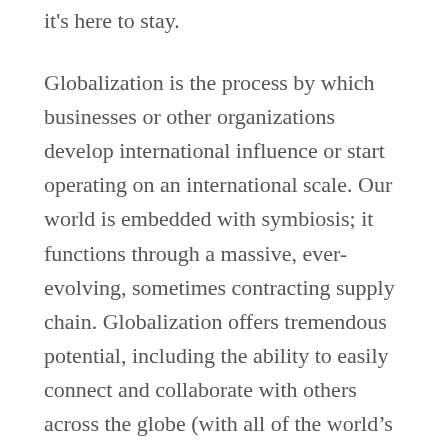it's here to stay.
Globalization is the process by which businesses or other organizations develop international influence or start operating on an international scale. Our world is embedded with symbiosis; it functions through a massive, ever-evolving, sometimes contracting supply chain. Globalization offers tremendous potential, including the ability to easily connect and collaborate with others across the globe (with all of the world's 8 billion people expected to be online by the middle of this decade), the acquisition of resources, and ongoing learning.